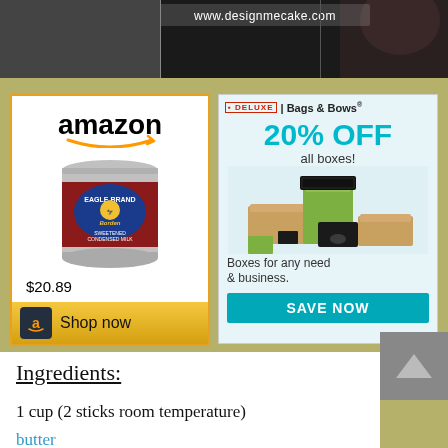[Figure (screenshot): Top banner with website URL www.designmecake.com on dark background with partial image of a person]
[Figure (screenshot): Amazon advertisement showing Eagle Brand Sweetened Condensed Milk can for $20.89 with Shop now button]
[Figure (screenshot): Deluxe Bags & Bows advertisement showing 20% OFF all boxes with Save Now button]
[Figure (screenshot): Back to top chevron button in grey]
Ingredients:
1 cup (2 sticks room temperature)
butter